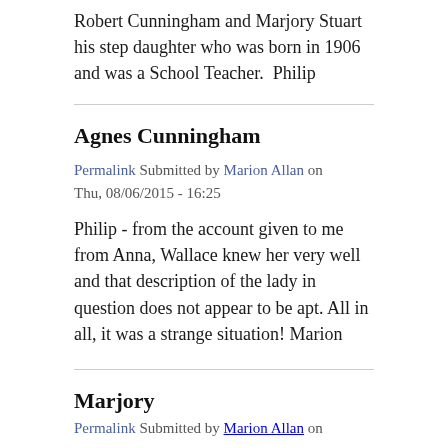Robert Cunningham and Marjory Stuart his step daughter who was born in 1906 and was a School Teacher.  Philip
Agnes Cunningham
Permalink Submitted by Marion Allan on Thu, 08/06/2015 - 16:25
Philip - from the account given to me from Anna, Wallace knew her very well and that description of the lady in question does not appear to be apt. All in all, it was a strange situation! Marion
Marjory
Permalink Submitted by Marion Allan on